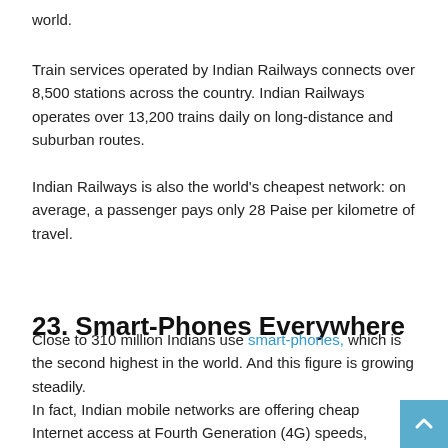world.
Train services operated by Indian Railways connects over 8,500 stations across the country. Indian Railways operates over 13,200 trains daily on long-distance and suburban routes.
Indian Railways is also the world's cheapest network: on average, a passenger pays only 28 Paise per kilometre of travel.
23. Smart-Phones Everywhere
Close to 310 million Indians use smart-phones, which is the second highest in the world. And this figure is growing steadily.
In fact, Indian mobile networks are offering cheap Internet access at Fourth Generation (4G) speeds, which encourages more people to get from smartphones.